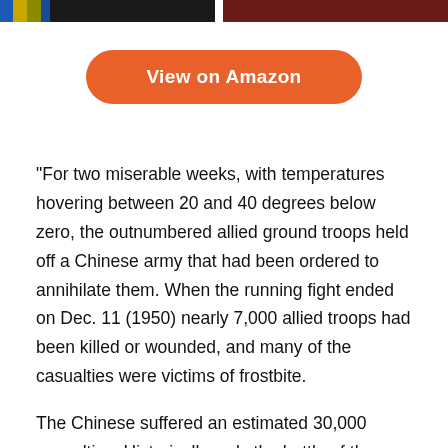[Figure (other): Top banner with two book covers or decorative strips — left side has colored stripes (blue, yellow, olive, dark blue, black) and right side is dark red/maroon.]
View on Amazon
“For two miserable weeks, with temperatures hovering between 20 and 40 degrees below zero, the outnumbered allied ground troops held off a Chinese army that had been ordered to annihilate them. When the running fight ended on Dec. 11 (1950) nearly 7,000 allied troops had been killed or wounded, and many of the casualties were victims of frostbite.
The Chinese suffered an estimated 30,000 casualties. Historically, only the battle of the Alamo and Custer’s Last Stand matched such seemingly hopeless odds. Like the Alamo, Chosin produced its own famous battle cry